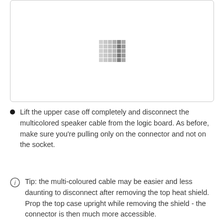[Figure (photo): A bordered image box with a loading/placeholder pixel grid pattern in the center, showing a gray dot matrix pattern on white background]
Lift the upper case off completely and disconnect the multicolored speaker cable from the logic board. As before, make sure you're pulling only on the connector and not on the socket.
Tip: the multi-coloured cable may be easier and less daunting to disconnect after removing the top heat shield. Prop the top case upright while removing the shield - the connector is then much more accessible.